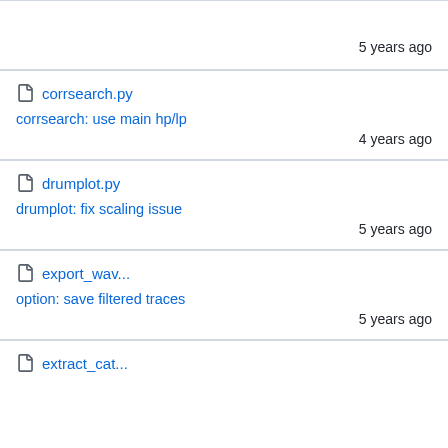5 years ago
corrsearch.py
corrsearch: use main hp/lp
4 years ago
drumplot.py
drumplot: fix scaling issue
5 years ago
export_wav...
option: save filtered traces
5 years ago
extract_cat...